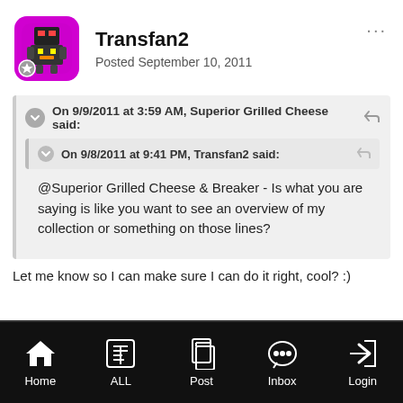Transfan2 — Posted September 10, 2011
On 9/9/2011 at 3:59 AM, Superior Grilled Cheese said:
On 9/8/2011 at 9:41 PM, Transfan2 said:
@Superior Grilled Cheese & Breaker - Is what you are saying is like you want to see an overview of my collection or something on those lines?
Let me know so I can make sure I can do it right, cool? :)
Home | ALL | Post | Inbox | Login